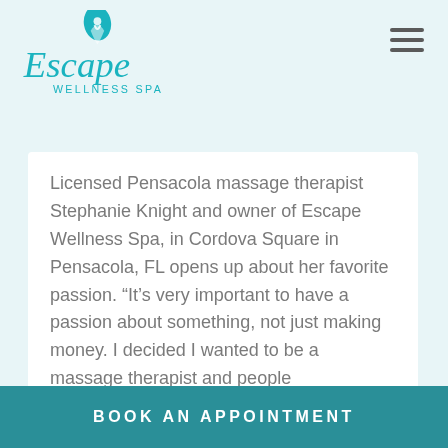Escape Wellness Spa
Licensed Pensacola massage therapist Stephanie Knight and owner of Escape Wellness Spa, in Cordova Square in Pensacola, FL opens up about her favorite passion. “It’s very important to have a passion about something, not just making money. I decided I wanted to be a massage therapist and people
Filed Under: MASSAGE NEWS
BOOK AN APPOINTMENT